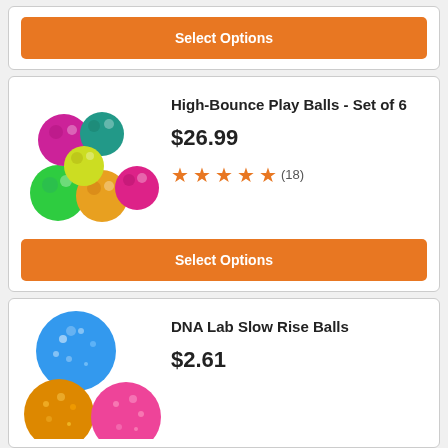[Figure (other): Orange 'Select Options' button at top of page]
[Figure (photo): Colorful high-bounce play balls - set of 6 in various colors including magenta, teal, yellow, green, orange, pink]
High-Bounce Play Balls - Set of 6
$26.99
★★★★★ (18)
[Figure (other): Orange 'Select Options' button]
[Figure (photo): DNA Lab Slow Rise Balls - sparkly/speckled balls in blue, orange, pink colors]
DNA Lab Slow Rise Balls
$2.61